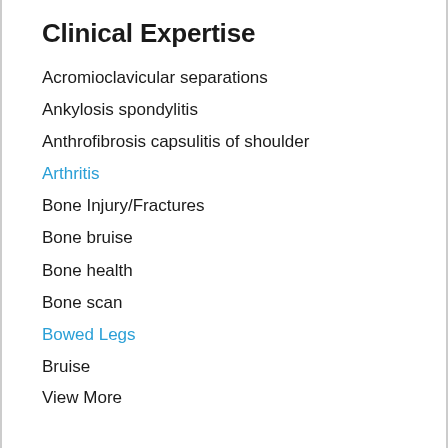Clinical Expertise
Acromioclavicular separations
Ankylosis spondylitis
Anthrofibrosis capsulitis of shoulder
Arthritis
Bone Injury/Fractures
Bone bruise
Bone health
Bone scan
Bowed Legs
Bruise
View More